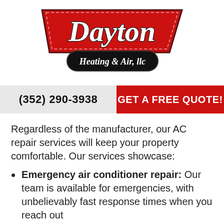[Figure (logo): Dayton Heating & Air, LLC logo with red chevron shape and cursive script text]
(352) 290-3938
GET A FREE QUOTE!
Regardless of the manufacturer, our AC repair services will keep your property comfortable. Our services showcase:
Emergency air conditioner repair: Our team is available for emergencies, with unbelievably fast response times when you reach out